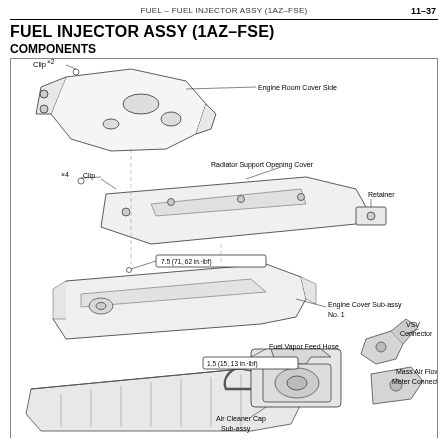FUEL  –  FUEL INJECTOR ASSY (1AZ–FSE)
11–37
FUEL INJECTOR ASSY (1AZ–FSE)
COMPONENTS
[Figure (engineering-diagram): Exploded view diagram showing components of Fuel Injector Assembly for 1AZ-FSE engine. Components labeled include: Clip x2, Engine Room Cover Side, x4 Clip, Radiator Support Opening Cover, Retainer, torque spec 7.5 (71, 62 in.-lbf), Engine Cover Sub-assy No. 1, Fuel Vapor Feed Hose with torque spec 1.5 (15, 13 in.-lbf), VSV Connector, Mass Air Flow Meter Connector, Air Cleaner Cap Sub-assy, and engine block assembly at bottom.]